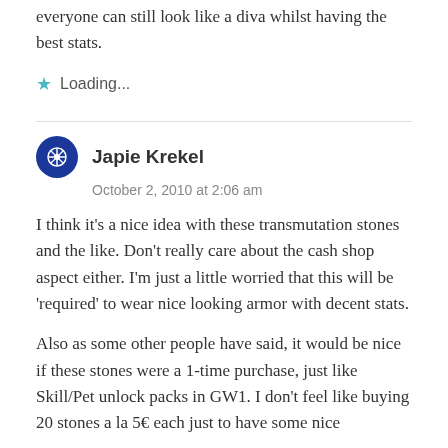everyone can still look like a diva whilst having the best stats.
Loading...
Japie Krekel
October 2, 2010 at 2:06 am
I think it's a nice idea with these transmutation stones and the like. Don't really care about the cash shop aspect either. I'm just a little worried that this will be 'required' to wear nice looking armor with decent stats.
Also as some other people have said, it would be nice if these stones were a 1-time purchase, just like Skill/Pet unlock packs in GW1. I don't feel like buying 20 stones a la 5€ each just to have some nice